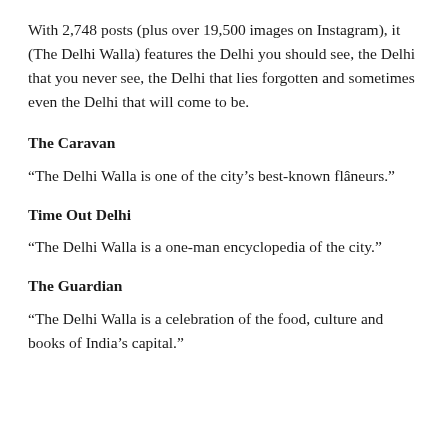With 2,748 posts (plus over 19,500 images on Instagram), it (The Delhi Walla) features the Delhi you should see, the Delhi that you never see, the Delhi that lies forgotten and sometimes even the Delhi that will come to be.
The Caravan
“The Delhi Walla is one of the city’s best-known flâneurs.”
Time Out Delhi
“The Delhi Walla is a one-man encyclopedia of the city.”
The Guardian
“The Delhi Walla is a celebration of the food, culture and books of India’s capital.”